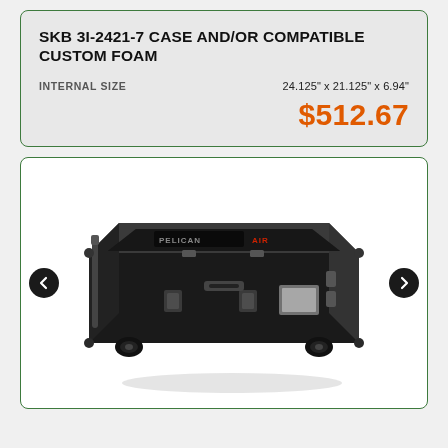SKB 3I-2421-7 CASE AND/OR COMPATIBLE CUSTOM FOAM
INTERNAL SIZE    24.125" x 21.125" x 6.94"
$512.67
[Figure (photo): Black rugged wheeled hard case (Pelican Air style) with latches, handles, and wheels, shown at a 3/4 angle with carousel navigation arrows on left and right]